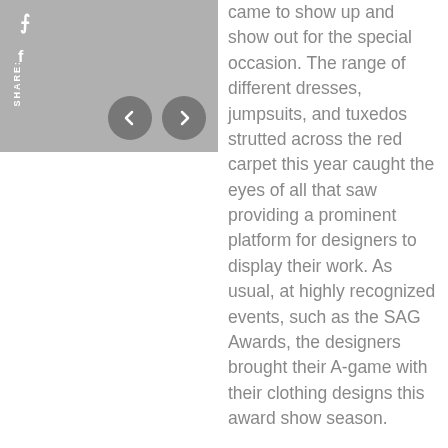[Figure (screenshot): Gray image placeholder area with share icons (quote mark, Facebook icon), vertical SHARE label, and navigation arrow buttons (left arrow, right arrow) on a medium gray background.]
came to show up and show out for the special occasion. The range of different dresses, jumpsuits, and tuxedos strutted across the red carpet this year caught the eyes of all that saw providing a prominent platform for designers to display their work. As usual, at highly recognized events, such as the SAG Awards, the designers brought their A-game with their clothing designs this award show season.